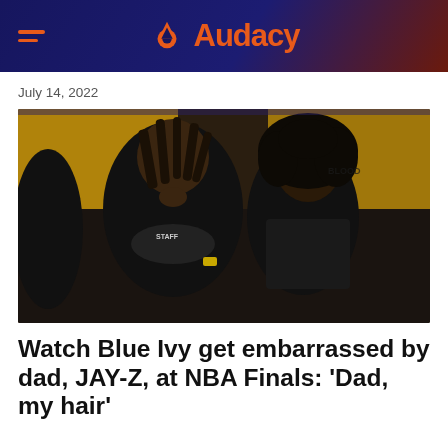Audacy
July 14, 2022
[Figure (photo): Jay-Z and Blue Ivy Carter seated courtside at an NBA Finals game. Jay-Z is wearing a black t-shirt with 'STAFF' text and a gold watch, resting his chin on his hand. Blue Ivy is wearing a black leather jacket with curly hair. Fans in yellow Golden State Warriors shirts are visible in the background.]
Watch Blue Ivy get embarrassed by dad, JAY-Z, at NBA Finals: 'Dad, my hair'